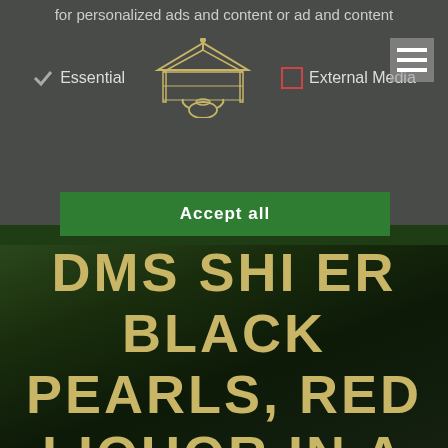for personalized ads and content or ad and content
Essential
External Media
[Figure (logo): Pagoda/tea house logo with teapot underneath, beige/gold color]
[Figure (other): Hamburger menu icon (three horizontal white lines on gray background)]
Accept all
[Figure (photo): Dark green tea plant leaves background photo]
DMS SHI ER BLACK PEARLS, RED LIQUOR IN A WHITE TEA CUP, BLACK TEA FROM